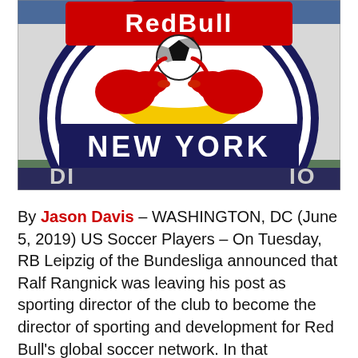[Figure (photo): Close-up photo of the New York Red Bulls soccer club logo/shield sign, showing two red bulls facing each other over a yellow sun with a soccer ball, and 'NEW YORK' text on a white and dark blue circular badge. Partial text visible at bottom of photo.]
By Jason Davis – WASHINGTON, DC (June 5, 2019) US Soccer Players – On Tuesday, RB Leipzig of the Bundesliga announced that Ralf Rangnick was leaving his post as sporting director of the club to become the director of sporting and development for Red Bull's global soccer network. In that